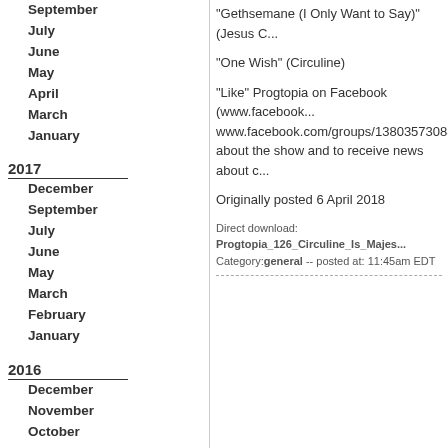September
July
June
May
April
March
January
2017
December
September
July
June
May
March
February
January
2016
December
November
October
September
July
June
May
April
February
January
2015
December
November
"Gethsemane (I Only Want to Say)" (Jesus C...
"One Wish" (Circuline)
"Like" Progtopia on Facebook (www.facebook... www.facebook.com/groups/1380357308874... about the show and to receive news about c...
Originally posted 6 April 2018
Direct download: Progtopia_126_Circuline_Is_Majes... Category:general -- posted at: 11:45am EDT